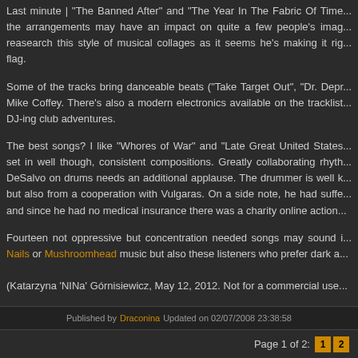Last minute | 'The Banned After' and 'The Year In The Fabric Of Time'... the arrangements may have an impact on quite a few people's image... reasearch this style of musical collages as it seems he's making it right... flag.
Some of the tracks bring danceable beats ("Take Target Out", "Dr. Depr..." Mike Coffey. There's also a modern electronics available on the tracklist... DJ-ing club adventures.
The best songs? I like "Whores of War" and "Late Great United States"... set in well though, consistent compositions. Greatly collaborating rhythms... DeSalvo on drums needs an additional applause. The drummer is well known... but also from a cooperation with Vulgaras. On a side note, he had suffered... and since he had no medical insurance there was a charity online action...
Fourteen not oppressive but concentration needed songs may sound like Nine Inch Nails or Mushroomhead music but also these listeners who prefer dark a...
(Katarzyna 'NINa' Górnisiewicz, May 12, 2012. Not for a commercial use...
Published by Draconina Updated on 02/07/2008 23:38:58
Page 1 of 2:  1  2